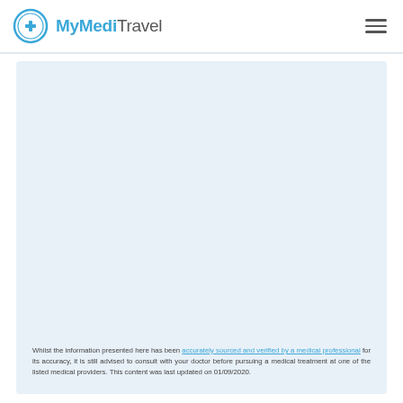MyMediTravel
[Figure (other): Large light-blue placeholder content area]
Whilst the information presented here has been accurately sourced and verified by a medical professional for its accuracy, it is still advised to consult with your doctor before pursuing a medical treatment at one of the listed medical providers. This content was last updated on 01/09/2020.